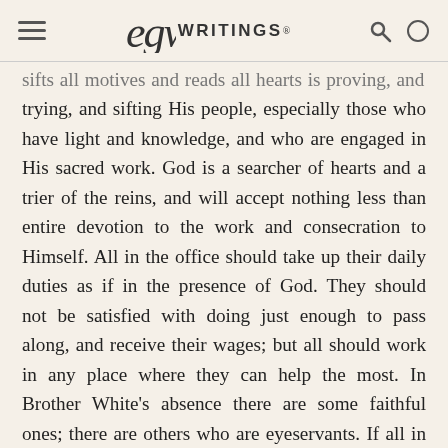EGW WRITINGS®
sifts all motives and reads all hearts is proving, and trying, and sifting His people, especially those who have light and knowledge, and who are engaged in His sacred work. God is a searcher of hearts and a trier of the reins, and will accept nothing less than entire devotion to the work and consecration to Himself. All in the office should take up their daily duties as if in the presence of God. They should not be satisfied with doing just enough to pass along, and receive their wages; but all should work in any place where they can help the most. In Brother White's absence there are some faithful ones; there are others who are eyeservants. If all in the office who profess to be followers of Christ had been faithful in the performance of duty in the office, there